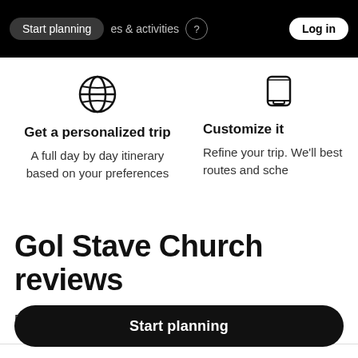Start planning  places & activities  Log in
[Figure (illustration): Globe icon with grid lines]
Get a personalized trip
A full day by day itinerary based on your preferences
[Figure (illustration): Mobile phone / screen icon]
Customize it
Refine your trip. We'll best routes and sche...
Gol Stave Church reviews
Rate this attraction ☆☆☆☆
Start planning